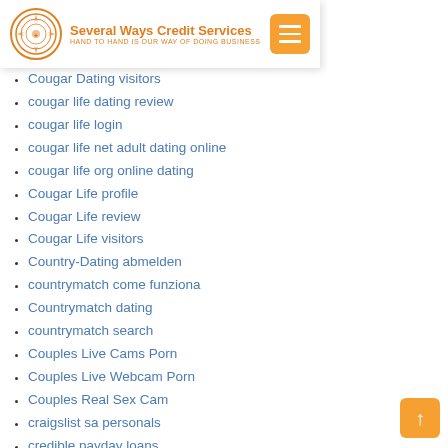Several Ways Credit Services — HAND TO HAND IS OUR WAY OF DOING BUSINESS
Cougar Dating visitors
cougar life dating review
cougar life login
cougar life net adult dating online
cougar life org online dating
Cougar Life profile
Cougar Life review
Cougar Life visitors
Country-Dating abmelden
countrymatch come funziona
Countrymatch dating
countrymatch search
Couples Live Cams Porn
Couples Live Webcam Porn
Couples Real Sex Cam
craigslist sa personals
credible payday loans
Credit Karma Payday Loans
credit payday loans